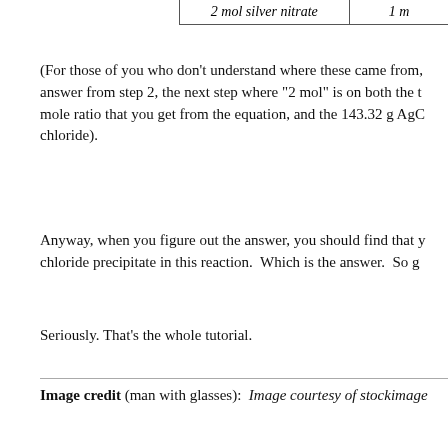|  | 2 mol silver nitrate | 1 m |
(For those of you who don't understand where these came from, answer from step 2, the next step where "2 mol" is on both the mole ratio that you get from the equation, and the 143.32 g AgC chloride).
Anyway, when you figure out the answer, you should find that you chloride precipitate in this reaction.  Which is the answer.  So go
Seriously. That's the whole tutorial.
Image credit (man with glasses):  Image courtesy of stockimage